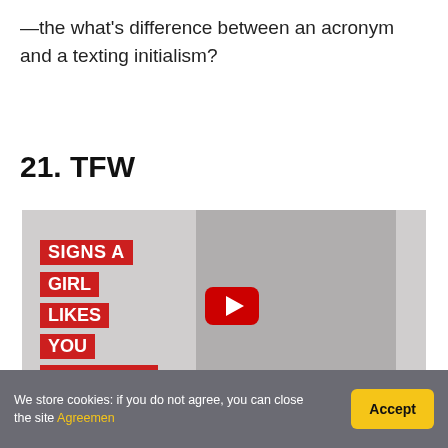—the what's difference between an acronym and a texting initialism?
21. TFW
[Figure (screenshot): YouTube video thumbnail showing a woman with text labels 'SIGNS A GIRL LIKES YOU OVER TEXT' in red boxes on the left, and a YouTube play button in the center.]
We store cookies: if you do not agree, you can close the site Agreemen